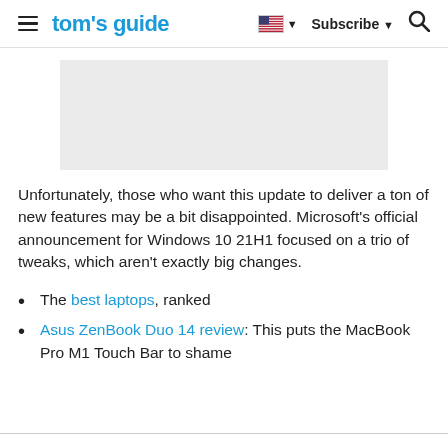tom's guide — Subscribe — Search
[Figure (other): Gray advertisement placeholder rectangle]
Unfortunately, those who want this update to deliver a ton of new features may be a bit disappointed. Microsoft's official announcement for Windows 10 21H1 focused on a trio of tweaks, which aren't exactly big changes.
The best laptops, ranked
Asus ZenBook Duo 14 review: This puts the MacBook Pro M1 Touch Bar to shame